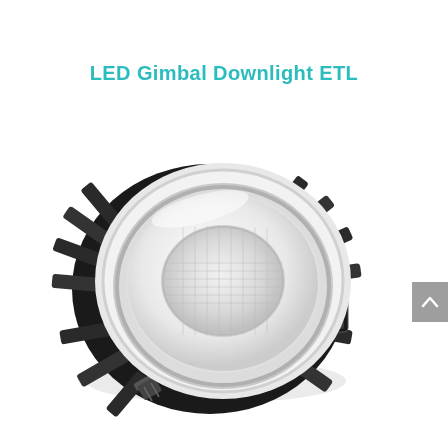LED Gimbal Downlight ETL
[Figure (photo): LED Gimbal Downlight ETL product photo showing a round recessed downlight fixture with white trim ring, white COB LED lens, and black aluminum heat sink fins with mounting clips, viewed from a slight angle.]